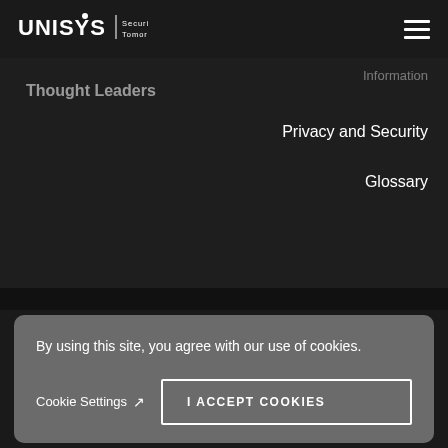[Figure (logo): Unisys logo with text 'UNISYS | Securing Your Tomorrow' on dark background, with hamburger menu icon on right]
Thought Leaders
Privacy and Security
Glossary
[Figure (infographic): Four social media icons in circles: LinkedIn, Twitter, Vimeo, YouTube]
By using this site, you agree with our use of cookies.
Cookie Settings ↗
I ACCEPT COOKIES
Trademarks   Terms of Use